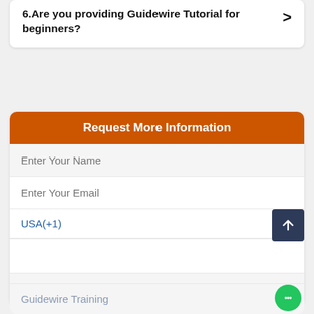6.Are you providing Guidewire Tutorial for beginners?
Request More Information
Enter Your Name
Enter Your Email
USA(+1)
Guidewire Training